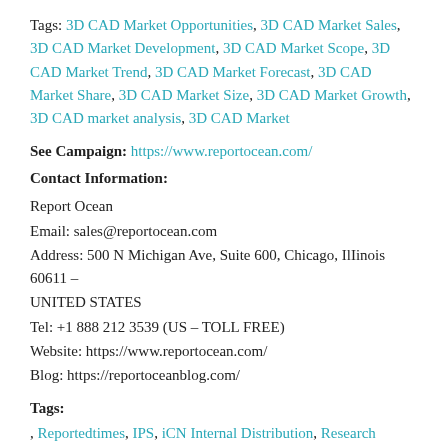Tags: 3D CAD Market Opportunities, 3D CAD Market Sales, 3D CAD Market Development, 3D CAD Market Scope, 3D CAD Market Trend, 3D CAD Market Forecast, 3D CAD Market Share, 3D CAD Market Size, 3D CAD Market Growth, 3D CAD market analysis, 3D CAD Market
See Campaign: https://www.reportocean.com/
Contact Information:
Report Ocean
Email: sales@reportocean.com
Address: 500 N Michigan Ave, Suite 600, Chicago, Illinois 60611 – UNITED STATES
Tel: +1 888 212 3539 (US – TOLL FREE)
Website: https://www.reportocean.com/
Blog: https://reportoceanblog.com/
Tags:
, Reportedtimes, IPS, iCN Internal Distribution, Research Newswire, English